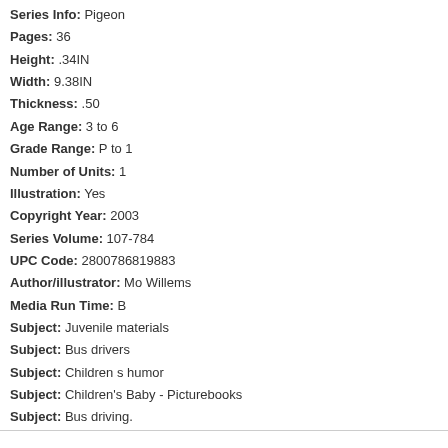Series Info: Pigeon
Pages: 36
Height: .34IN
Width: 9.38IN
Thickness: .50
Age Range: 3 to 6
Grade Range: P to 1
Number of Units: 1
Illustration: Yes
Copyright Year: 2003
Series Volume: 107-784
UPC Code: 2800786819883
Author/illustrator: Mo Willems
Media Run Time: B
Subject: Juvenile materials
Subject: Bus drivers
Subject: Children s humor
Subject: Children's Baby - Picturebooks
Subject: Bus driving.
Subject: Pigeons